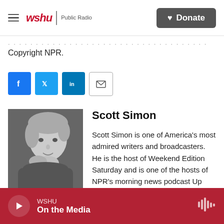wshu Public Radio | Donate
Copyright NPR.
[Figure (infographic): Social sharing buttons: Facebook, Twitter, LinkedIn, Email]
[Figure (photo): Black and white portrait photo of Scott Simon]
Scott Simon
Scott Simon is one of America's most admired writers and broadcasters. He is the host of Weekend Edition Saturday and is one of the hosts of NPR's morning news podcast Up First. He has reported from all fifty states, five continents, and ten wars, from El Salvador to Sarajevo to
WSHU On the Media